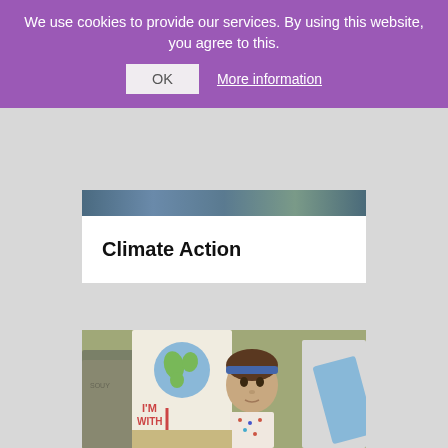We use cookies to provide our services. By using this website, you agree to this.
OK
More information
Climate Action
[Figure (photo): A young girl with a blue headband at a climate protest holding a sign with a drawing of the Earth and the text 'I'M WITH HER' with a pink arrow, surrounded by other protesters.]